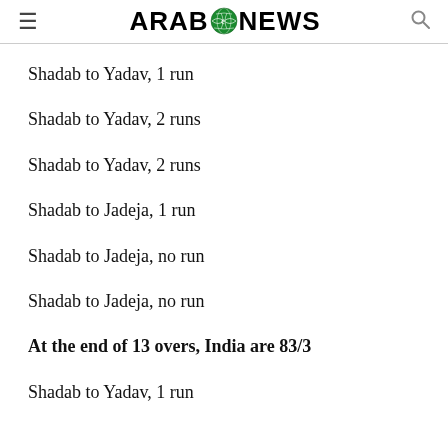ARAB NEWS
Shadab to Yadav, 1 run
Shadab to Yadav, 2 runs
Shadab to Yadav, 2 runs
Shadab to Jadeja, 1 run
Shadab to Jadeja, no run
Shadab to Jadeja, no run
At the end of 13 overs, India are 83/3
Shadab to Yadav, 1 run